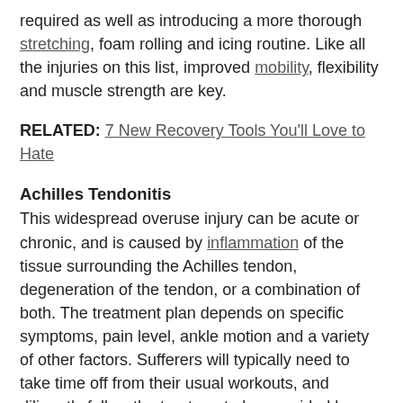required as well as introducing a more thorough stretching, foam rolling and icing routine. Like all the injuries on this list, improved mobility, flexibility and muscle strength are key.
RELATED: 7 New Recovery Tools You'll Love to Hate
Achilles Tendonitis
This widespread overuse injury can be acute or chronic, and is caused by inflammation of the tissue surrounding the Achilles tendon, degeneration of the tendon, or a combination of both. The treatment plan depends on specific symptoms, pain level, ankle motion and a variety of other factors. Sufferers will typically need to take time off from their usual workouts, and diligently follow the treatment plan provided by their PT.
Stress Fracture